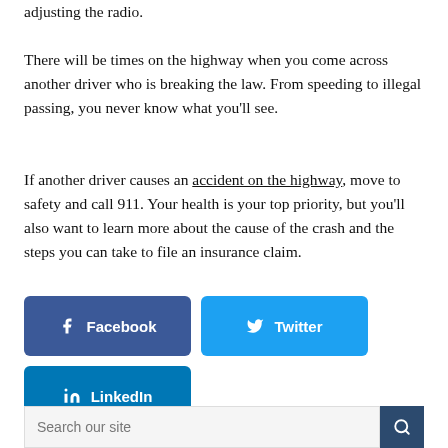adjusting the radio.
There will be times on the highway when you come across another driver who is breaking the law. From speeding to illegal passing, you never know what you’ll see.
If another driver causes an accident on the highway, move to safety and call 911. Your health is your top priority, but you’ll also want to learn more about the cause of the crash and the steps you can take to file an insurance claim.
[Figure (other): Social share buttons: Facebook, Twitter, LinkedIn]
[Figure (other): Search bar with text 'Search our site' and a search button]